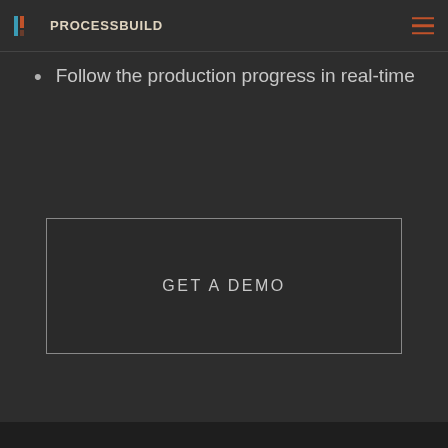PROCESSBUILD
Follow the production progress in real-time
GET A DEMO